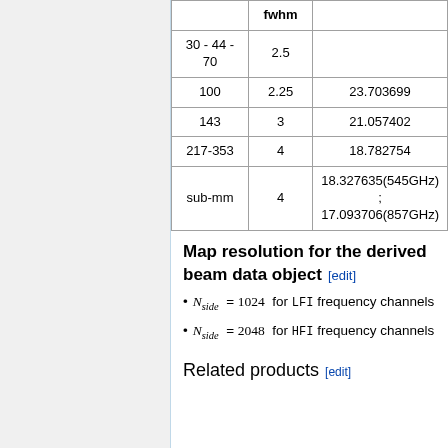|  | fwhm |  |
| --- | --- | --- |
| 30 - 44 - 70 | 2.5 |  |
| 100 | 2.25 | 23.703699 |
| 143 | 3 | 21.057402 |
| 217-353 | 4 | 18.782754 |
| sub-mm | 4 | 18.327635(545GHz) ; 17.093706(857GHz) |
Map resolution for the derived beam data object [edit]
N_side = 1024 for LFI frequency channels
N_side = 2048 for HFI frequency channels
Related products [edit]